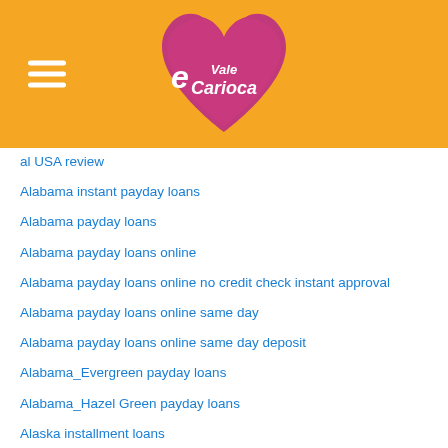[Figure (logo): Vale Carioca logo: pink/purple heart shape with 'Vale Carioca' text in white, on an orange header background with hamburger menu icon]
al USA review
Alabama instant payday loans
Alabama payday loans
Alabama payday loans online
Alabama payday loans online no credit check instant approval
Alabama payday loans online same day
Alabama payday loans online same day deposit
Alabama_Evergreen payday loans
Alabama_Hazel Green payday loans
Alaska installment loans
Alaska instant payday loans
Alaska online payday loans
Alaska payday loans online
Alaska payday loans online same day deposit